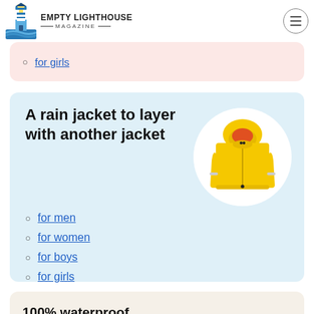Empty Lighthouse Magazine
for girls
A rain jacket to layer with another jacket
[Figure (photo): Yellow children's rain jacket with hood and reflective strips on white oval background]
for men
for women
for boys
for girls
100% waterproof